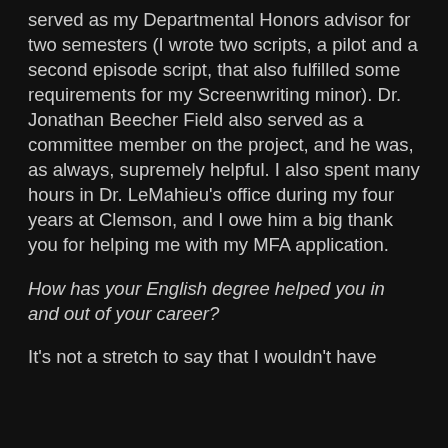served as my Departmental Honors advisor for two semesters (I wrote two scripts, a pilot and a second episode script, that also fulfilled some requirements for my Screenwriting minor). Dr. Jonathan Beecher Field also served as a committee member on the project, and he was, as always, supremely helpful. I also spent many hours in Dr. LeMahieu's office during my four years at Clemson, and I owe him a big thank you for helping me with my MFA application.
How has your English degree helped you in and out of your career?
It's not a stretch to say that I wouldn't have